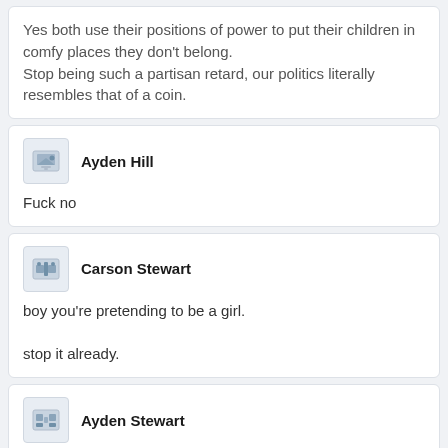Yes both use their positions of power to put their children in comfy places they don't belong.
Stop being such a partisan retard, our politics literally resembles that of a coin.
Ayden Hill
Fuck no
Carson Stewart
boy you're pretending to be a girl.
stop it already.
Ayden Stewart
I'm going to make an edit with a rep and dem saying gun control/some gun control.